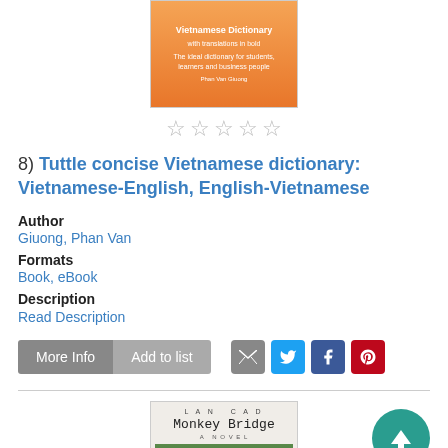[Figure (photo): Book cover for Tuttle concise Vietnamese dictionary with orange background]
[Figure (other): Five empty star rating icons]
8) Tuttle concise Vietnamese dictionary: Vietnamese-English, English-Vietnamese
Author
Giuong, Phan Van
Formats
Book, eBook
Description
Read Description
[Figure (other): More Info and Add to list buttons with email, twitter, facebook, pinterest social share icons]
[Figure (photo): Book cover for Monkey Bridge novel by Lan Cao with handwritten title and nature background]
[Figure (other): Teal circular scroll-to-top button with upward arrow]